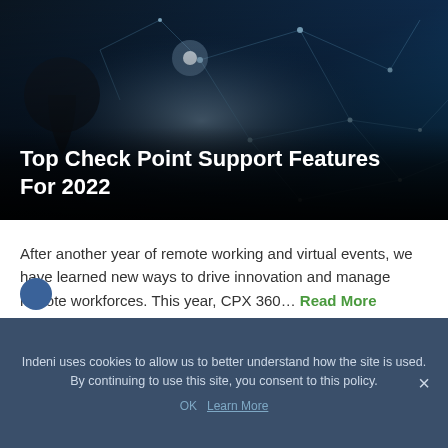[Figure (illustration): Dark blue network/cybersecurity hero image with keyhole silhouette on the left and glowing network node connections against a dark-to-blue gradient background. White bold title text overlaid at lower left: 'Top Check Point Support Features For 2022']
Top Check Point Support Features For 2022
After another year of remote working and virtual events, we have learned new ways to drive innovation and manage remote workforces. This year, CPX 360… Read More
Indeni uses cookies to allow us to better understand how the site is used. By continuing to use this site, you consent to this policy.
OK  Learn More